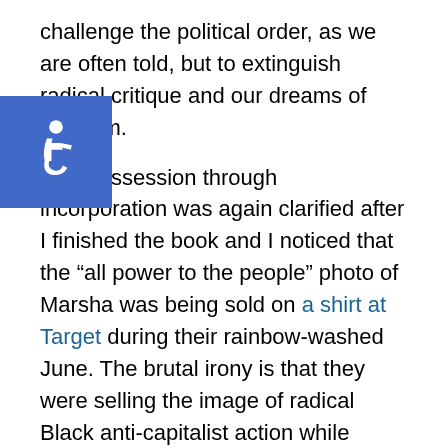challenge the political order, as we are often told, but to extinguish radical critique and our dreams of freedom.

...dispossession through incorporation was again clarified after I finished the book and I noticed that the “all power to the people” photo of Marsha was being sold on a shirt at Target during their rainbow-washed June. The brutal irony is that they were selling the image of radical Black anti-capitalist action while underpaying their workers and racially profiling Black people in their stores. They want Marsha’s image, but they don’t want her. It’s this knot that I’m trying to apprehend in the book, so that we might find a way out.

This photograph was taken in 1992 at a political action by ACT UP, in which activists flung ashes of